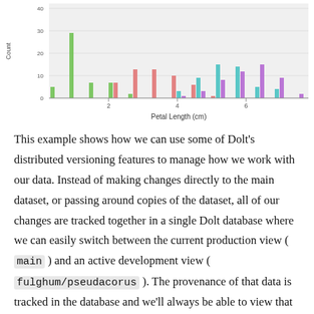[Figure (histogram): Histogram of Petal Length by Species]
This example shows how we can use some of Dolt's distributed versioning features to manage how we work with our data. Instead of making changes directly to the main dataset, or passing around copies of the dataset, all of our changes are tracked together in a single Dolt database where we can easily switch between the current production view ( main ) and an active development view ( fulghum/pseudacorus ). The provenance of that data is tracked in the database and we'll always be able to view that history and track back